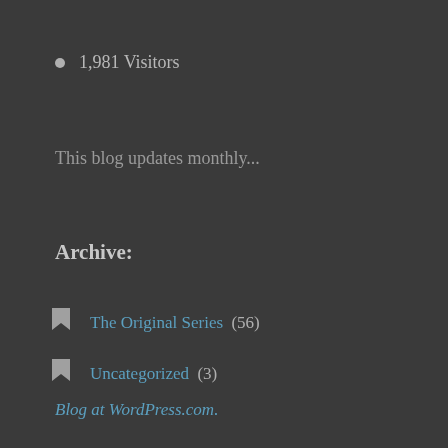1,981 Visitors
This blog updates monthly...
Archive:
The Original Series (56)
Uncategorized (3)
Blog at WordPress.com.